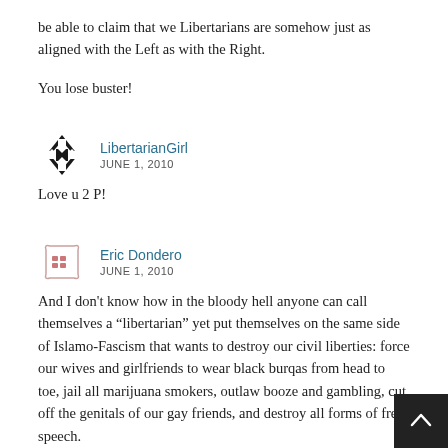be able to claim that we Libertarians are somehow just as aligned with the Left as with the Right.
You lose buster!
LibertarianGirl
JUNE 1, 2010
Love u 2 P!
Eric Dondero
JUNE 1, 2010
And I don’t know how in the bloody hell anyone can call themselves a “libertarian” yet put themselves on the same side of Islamo-Fascism that wants to destroy our civil liberties: force our wives and girlfriends to wear black burqas from head to toe, jail all marijuana smokers, outlaw booze and gambling, cut off the genitals of our gay friends, and destroy all forms of free speech.